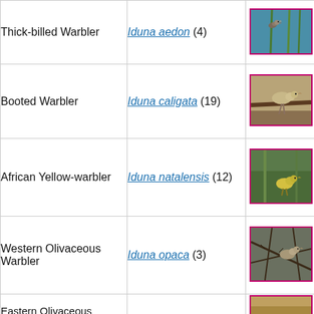| Common Name | Scientific Name | Photo |
| --- | --- | --- |
| Thick-billed Warbler | Iduna aedon (4) | [photo] |
| Booted Warbler | Iduna caligata (19) | [photo] |
| African Yellow-warbler | Iduna natalensis (12) | [photo] |
| Western Olivaceous Warbler | Iduna opaca (3) | [photo] |
| Eastern Olivaceous ... |  | [photo] |